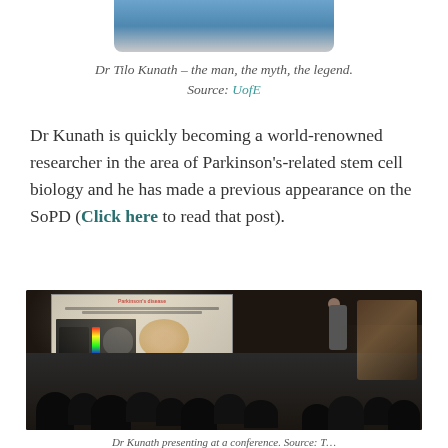[Figure (photo): Partial photo of Dr Tilo Kunath (cropped at top of page, showing bottom portion of a person in a blue shirt)]
Dr Tilo Kunath – the man, the myth, the legend.
Source: UofE
Dr Kunath is quickly becoming a world-renowned researcher in the area of Parkinson's-related stem cell biology and he has made a previous appearance on the SoPD (Click here to read that post).
[Figure (photo): Photo of Dr Kunath presenting at a conference/lecture. A large projection screen displays a slide about Parkinson's disease with brain scan images. An audience of many people is seated facing the presenter.]
Dr Kunath presenting at a conference. Source: T...